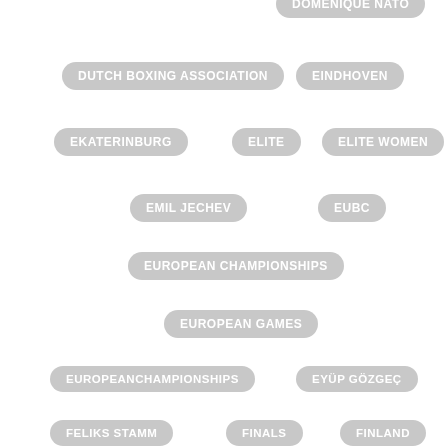DOMENIQUE NATO
DUTCH BOXING ASSOCIATION
EINDHOVEN
EKATERINBURG
ELITE
ELITE WOMEN
EMIL JECHEV
EUBC
EUROPEAN CHAMPIONSHIPS
EUROPEAN GAMES
EUROPEANCHAMPIONSHIPS
EYÜP GÖZGEÇ
FELIKS STAMM
FINALS
FINLAND
FISU
FRANCE
FRANCO FALCINELLI
FRANCOFALCINELLI
GALATI
GEEBEE